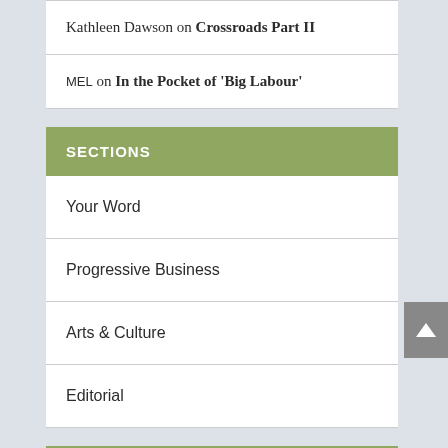Kathleen Dawson on Crossroads Part II
MEL on In the Pocket of 'Big Labour'
SECTIONS
Your Word
Progressive Business
Arts & Culture
Editorial
LOGIN